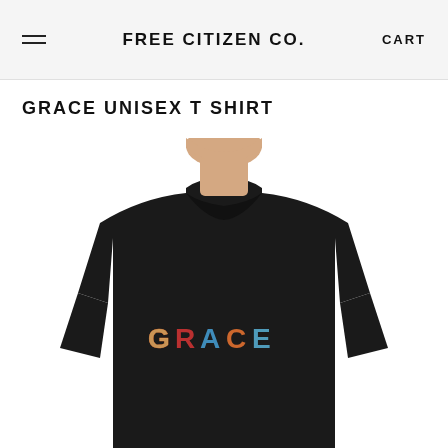FREE CITIZEN CO.
GRACE UNISEX T SHIRT
[Figure (photo): A male model wearing a black unisex t-shirt with the word GRACE printed in colorful decorative letters on the chest. The model is shown from the chin down to the waist area, wearing the black tee on a white background.]